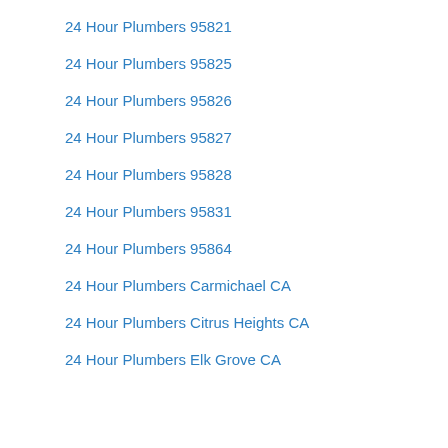24 Hour Plumbers 95821
24 Hour Plumbers 95825
24 Hour Plumbers 95826
24 Hour Plumbers 95827
24 Hour Plumbers 95828
24 Hour Plumbers 95831
24 Hour Plumbers 95864
24 Hour Plumbers Carmichael CA
24 Hour Plumbers Citrus Heights CA
24 Hour Plumbers Elk Grove CA